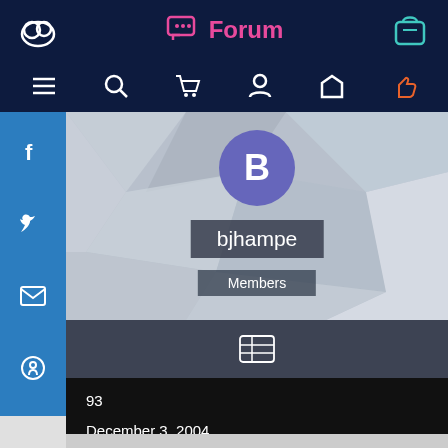Forum
[Figure (screenshot): App navigation bar with hamburger menu, search, cart, user, home, and pointer icons]
[Figure (screenshot): Social media sidebar with Facebook, Twitter, email, and GitHub icons]
[Figure (screenshot): User profile header with avatar 'B', username 'bjhampe', and Members badge on geometric polygon background]
[Figure (screenshot): Profile tab bar with grid/ID card icon]
93
December 3, 2004
December 28, 2010